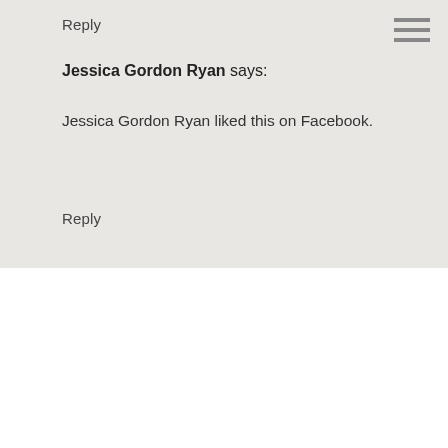Reply
Jessica Gordon Ryan says:
Jessica Gordon Ryan liked this on Facebook.
Reply
This online space is partially wine-inspired, completely written from the heart, and designed for people who give a damn about how they want to live